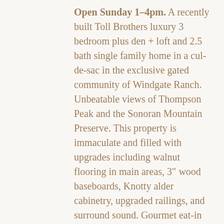Open Sunday 1–4pm. A recently built Toll Brothers luxury 3 bedroom plus den + loft and 2.5 bath single family home in a cul-de-sac in the exclusive gated community of Windgate Ranch. Unbeatable views of Thompson Peak and the Sonoran Mountain Preserve. This property is immaculate and filled with upgrades including walnut flooring in main areas, 3" wood baseboards, Knotty alder cabinetry, upgraded railings, and surround sound. Gourmet eat-in kitchen with stainless steel appliances including 5 burner gas cooktop, walk-in